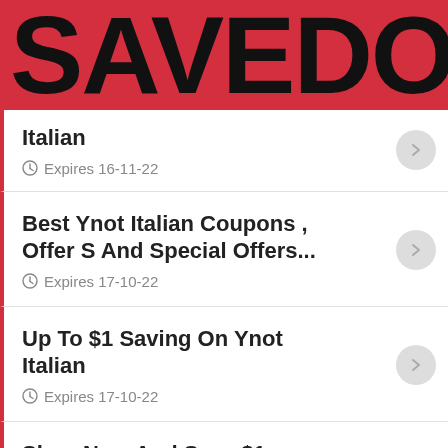SAVEDOUB
Italian
Expires 16-11-22
Best Ynot Italian Coupons , Offer S And Special Offers...
Expires 17-10-22
Up To $1 Saving On Ynot Italian
Expires 17-10-22
Shop Now And Save $1